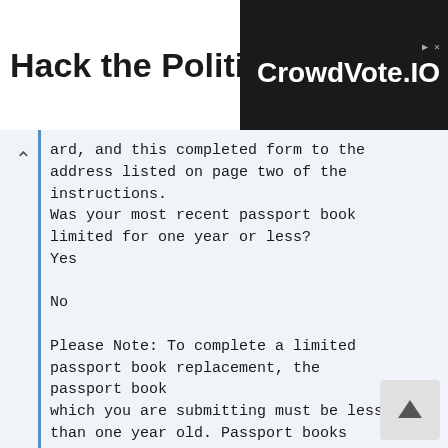[Figure (screenshot): Advertisement banner: 'Hack the Political System.' with CrowdVote.IO logo on dark background]
ard, and this completed form to the address listed on page two of the instructions.
Was your most recent passport book limited for one year or less?
Yes

No

Please Note: To complete a limited passport book replacement, the passport book
which you are submitting must be less than one year old. Passport books limited in
validity because of multiple losses cannot be extended.
Please be sure to enclose your